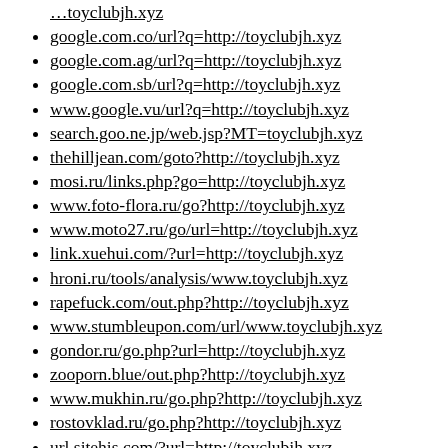google.com.co/url?q=http://toyclubjh.xyz
google.com.ag/url?q=http://toyclubjh.xyz
google.com.sb/url?q=http://toyclubjh.xyz
www.google.vu/url?q=http://toyclubjh.xyz
search.goo.ne.jp/web.jsp?MT=toyclubjh.xyz
thehilljean.com/goto?http://toyclubjh.xyz
mosi.ru/links.php?go=http://toyclubjh.xyz
www.foto-flora.ru/go?http://toyclubjh.xyz
www.moto27.ru/go/url=http://toyclubjh.xyz
link.xuehui.com/?url=http://toyclubjh.xyz
hroni.ru/tools/analysis/www.toyclubjh.xyz
rapefuck.com/out.php?http://toyclubjh.xyz
www.stumbleupon.com/url/www.toyclubjh.xyz
gondor.ru/go.php?url=http://toyclubjh.xyz
zooporn.blue/out.php?http://toyclubjh.xyz
www.mukhin.ru/go.php?http://toyclubjh.xyz
rostovklad.ru/go.php?http://toyclubjh.xyz
url.sitehis.com/?url=http://toyclubjh.xyz